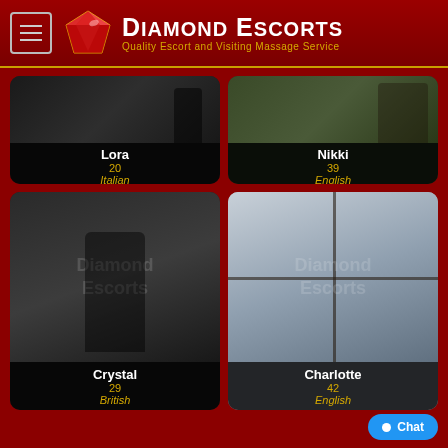Diamond Escorts — Quality Escort and Visiting Massage Service
[Figure (photo): Card for Lora, age 20, Italian]
[Figure (photo): Card for Nikki, age 39, English]
[Figure (photo): Card for Crystal, age 29, British]
[Figure (photo): Card for Charlotte, age 42, English]